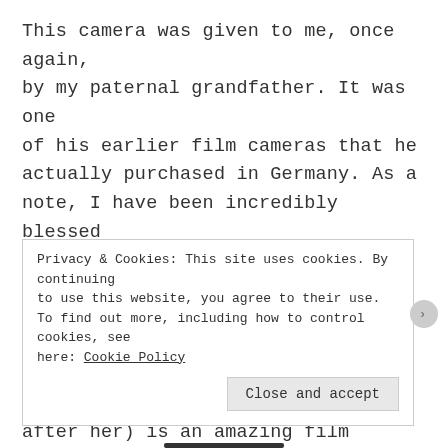This camera was given to me, once again, by my paternal grandfather. It was one of his earlier film cameras that he actually purchased in Germany. As a note, I have been incredibly blessed that my grandparents have so many amazing cameras to give to me. My grandfather's sister (also originally Madeline Kluz although I wasn't named after her) is an amazing film photographer. She runs her own darkroom
Privacy & Cookies: This site uses cookies. By continuing to use this website, you agree to their use. To find out more, including how to control cookies, see here: Cookie Policy
Close and accept